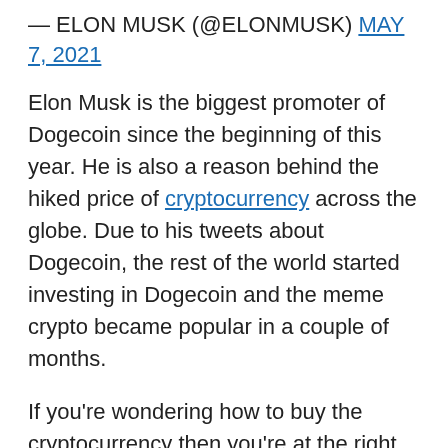— ELON MUSK (@ELONMUSK) MAY 7, 2021
Elon Musk is the biggest promoter of Dogecoin since the beginning of this year. He is also a reason behind the hiked price of cryptocurrency across the globe. Due to his tweets about Dogecoin, the rest of the world started investing in Dogecoin and the meme crypto became popular in a couple of months.
If you're wondering how to buy the cryptocurrency then you're at the right place. We will tell you how to purchase some Dogecoins for yourself. To buy Dogecoin you need crypto exchanges that allow you to buy and sell cryptocurrencies. Just to make it easier for your understanding, crypto exchanges are the apps or websites like CoinSwitch and WazirX which helps in